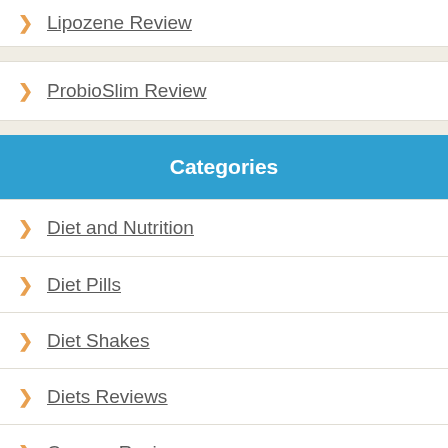Lipozene Review
ProbioSlim Review
Categories
Diet and Nutrition
Diet Pills
Diet Shakes
Diets Reviews
Creams Reviews
Eye Creams
Joint Pain Supplements